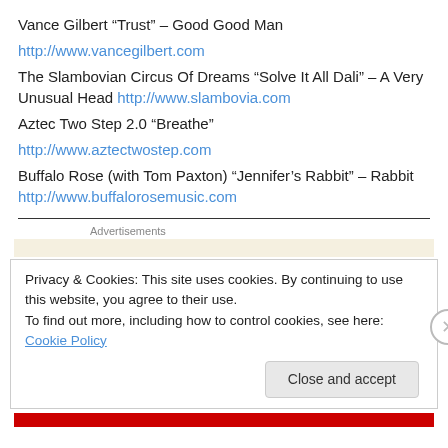Vance Gilbert “Trust” – Good Good Man
http://www.vancegilbert.com
The Slambovian Circus Of Dreams “Solve It All Dali” – A Very Unusual Head http://www.slambovia.com
Aztec Two Step 2.0 “Breathe”
http://www.aztectwostep.com
Buffalo Rose (with Tom Paxton) “Jennifer’s Rabbit” – Rabbit http://www.buffalorosemusic.com
Advertisements
Privacy & Cookies: This site uses cookies. By continuing to use this website, you agree to their use.
To find out more, including how to control cookies, see here: Cookie Policy
Close and accept